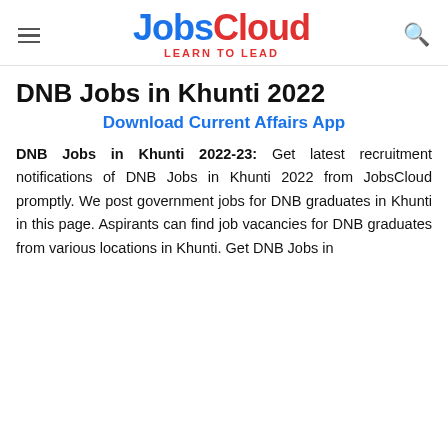JobsCloud LEARN TO LEAD
DNB Jobs in Khunti 2022
Download Current Affairs App
DNB Jobs in Khunti 2022-23: Get latest recruitment notifications of DNB Jobs in Khunti 2022 from JobsCloud promptly. We post government jobs for DNB graduates in Khunti in this page. Aspirants can find job vacancies for DNB graduates from various locations in Khunti. Get DNB Jobs in